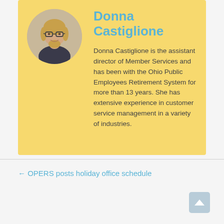[Figure (photo): Circular headshot photo of a smiling woman with glasses and blonde hair, wearing a dark top]
Donna Castiglione
Donna Castiglione is the assistant director of Member Services and has been with the Ohio Public Employees Retirement System for more than 13 years. She has extensive experience in customer service management in a variety of industries.
← OPERS posts holiday office schedule